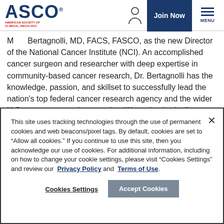ASCO | American Society of Clinical Oncology | Join Now | MENU
Monica Bertagnolli, MD, FACS, FASCO, as the new Director of the National Cancer Institute (NCI). An accomplished cancer surgeon and researcher with deep expertise in community-based cancer research, Dr. Bertagnolli has the knowledge, passion, and skillset to successfully lead the nation's top federal cancer research agency and the wider U.S. cancer research enterprise. We enthusiastically endorse her selection, recognizing Dr.
This site uses tracking technologies through the use of permanent cookies and web beacons/pixel tags. By default, cookies are set to “Allow all cookies.” If you continue to use this site, then you acknowledge our use of cookies. For additional information, including on how to change your cookie settings, please visit “Cookies Settings” and review our Privacy Policy and Terms of Use.
Cookies Settings    Accept Cookies